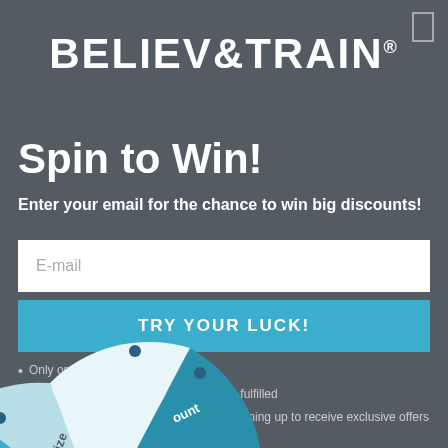[Figure (logo): BELIEV&TRAIN logo in white bold text on dark grey background with registered trademark symbol]
Spin to Win!
Enter your email for the chance to win big discounts!
E-mail
TRY YOUR LUCK!
Only one spin per customer
Prizes won through cheating will not be fulfilled
By providing your contact info you are signing up to receive exclusive offers and news.
[Figure (illustration): Partial spin wheel visible at bottom of page showing segments including 'No prize' and 'ount' (discount), in blue and white colors with circular center hub]